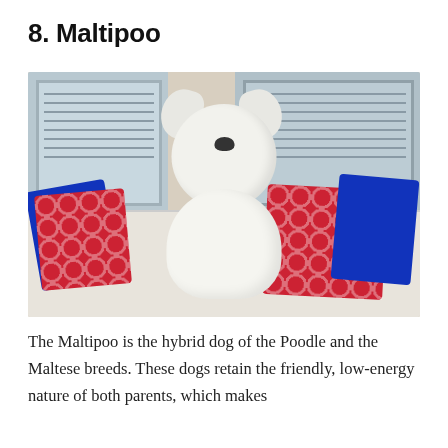8. Maltipoo
[Figure (photo): A white fluffy Maltipoo dog sitting on a white sofa surrounded by blue and red patterned cushions, with a window showing blinds in the background.]
The Maltipoo is the hybrid dog of the Poodle and the Maltese breeds. These dogs retain the friendly, low-energy nature of both parents, which makes